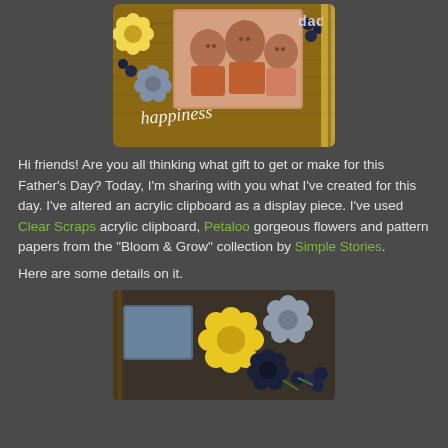[Figure (photo): Scrapbook layout showing three children with decorative flowers, berries, and the word 'happiness' on a wooden background. Father's Day themed acrylic clipboard display piece.]
Hi friends! Are you all thinking what gift to get or make for this Father's Day? Today, I'm sharing with you what I've created for this day. I've altered an acrylic clipboard as a display piece. I've used Clear Scraps acrylic clipboard, Petaloo gorgeous flowers and pattern papers from the "Bloom & Grow" collection by Simple Stories.
Here are some details on it.
[Figure (photo): Close-up detail photo of decorative flowers (yellow daisy, grey flower, dark navy flower) with berries on the scrapbook clipboard piece.]